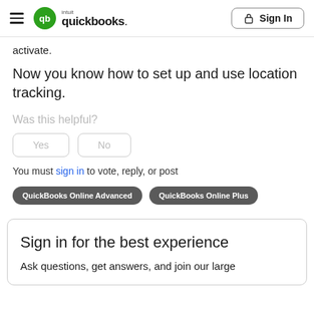QuickBooks — Sign In
activate.
Now you know how to set up and use location tracking.
Was this helpful?
Yes   No
You must sign in to vote, reply, or post
QuickBooks Online Advanced   QuickBooks Online Plus
Sign in for the best experience
Ask questions, get answers, and join our large